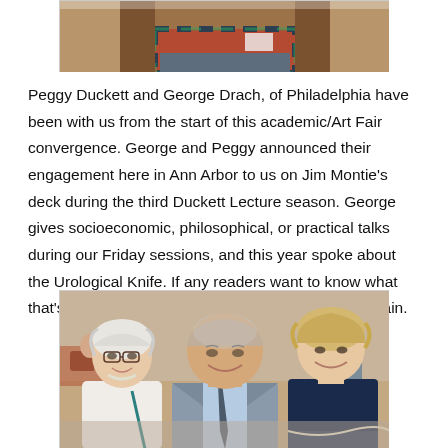[Figure (photo): Partial photo at top of page showing a person seated in a chair, cropped — only lower torso and legs visible, wearing plaid.]
Peggy Duckett and George Drach, of Philadelphia have been with us from the start of this academic/Art Fair convergence. George and Peggy announced their engagement here in Ann Arbor to us on Jim Montie’s deck during the third Duckett Lecture season. George gives socioeconomic, philosophical, or practical talks during our Friday sessions, and this year spoke about the Urological Knife. If any readers want to know what that’s all about, he is available to give the lecture again.
[Figure (photo): Photo of three people smiling together indoors in what appears to be an auditorium or lecture hall setting. A woman with white hair and glasses on the left, an older man in the center wearing a suit and tie, and a blonde woman on the right.]